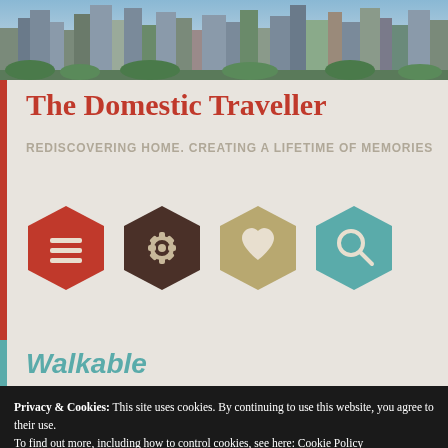[Figure (photo): City skyline photograph showing urban buildings and skyscrapers against a sky background with green vegetation in the foreground]
The Domestic Traveller
REDISCOVERING HOME. CREATING A LIFETIME OF MEMORIES
[Figure (infographic): Four hexagon navigation icons: red hamburger menu icon, dark brown gear/settings icon, tan/gold heart favorites icon, teal search/magnifier icon]
Walkable
Privacy & Cookies: This site uses cookies. By continuing to use this website, you agree to their use.
To find out more, including how to control cookies, see here: Cookie Policy
Close and accept